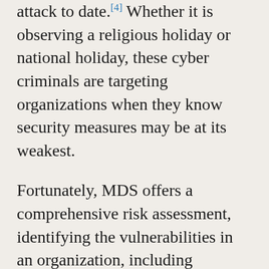attack to date.[4] Whether it is observing a religious holiday or national holiday, these cyber criminals are targeting organizations when they know security measures may be at its weakest.
Fortunately, MDS offers a comprehensive risk assessment, identifying the vulnerabilities in an organization, including upstream and downstream vendors in a supply chain to address these very issues. For more information about our services, you can contact a MDS representative at contactus@mdsny.com or learn more